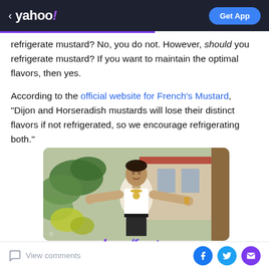< yahoo! | Get App
refrigerate mustard? No, you do not. However, should you refrigerate mustard? If you want to maintain the optimal flavors, then yes.
According to the official website for French's Mustard, “Dijon and Horseradish mustards will lose their distinct flavors if not refrigerated, so we encourage refrigerating both.”
[Figure (photo): A man in a white open shirt with gold necklaces and chains, gesturing with arms spread wide, standing outdoors with tropical plants and a building in the background. Yahoo Fantasy logo/text visible at bottom.]
View comments | Facebook share | Twitter share | Email share